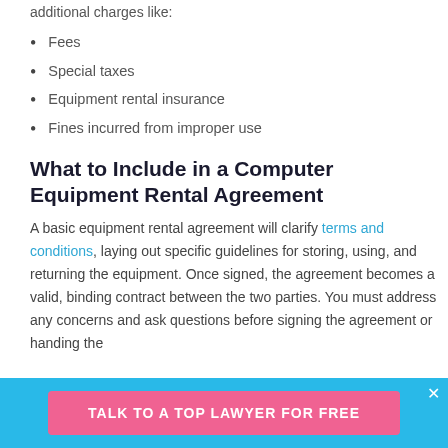additional charges like:
Fees
Special taxes
Equipment rental insurance
Fines incurred from improper use
What to Include in a Computer Equipment Rental Agreement
A basic equipment rental agreement will clarify terms and conditions, laying out specific guidelines for storing, using, and returning the equipment. Once signed, the agreement becomes a valid, binding contract between the two parties. You must address any concerns and ask questions before signing the agreement or handing the
TALK TO A TOP LAWYER FOR FREE